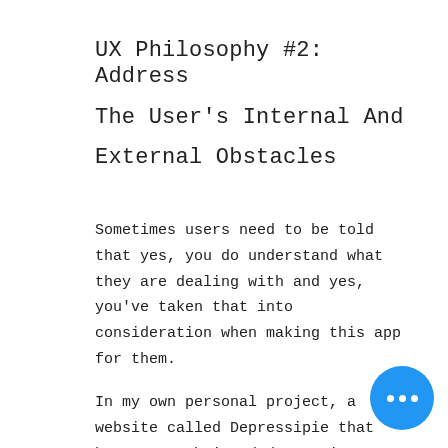UX Philosophy #2: Address The User's Internal And External Obstacles
Sometimes users need to be told that yes, you do understand what they are dealing with and yes, you've taken that into consideration when making this app for them.
In my own personal project, a website called Depressipie that has user-submitted depression meals, I don't be coy with the fact that depression is WORST and that food can...